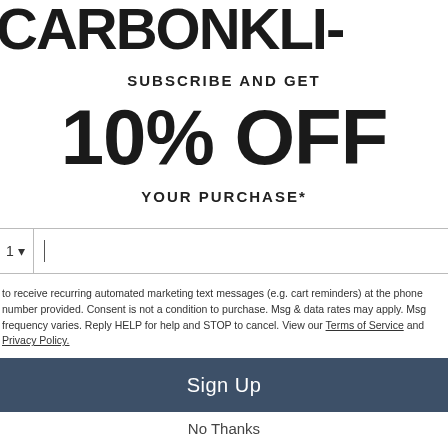CARBONKLI-
SUBSCRIBE AND GET
10% OFF
YOUR PURCHASE*
1 ▾ |
to receive recurring automated marketing text messages (e.g. cart reminders) at the phone number provided. Consent is not a condition to purchase. Msg & data rates may apply. Msg frequency varies. Reply HELP for help and STOP to cancel. View our Terms of Service and Privacy Policy.
Sign Up
No Thanks